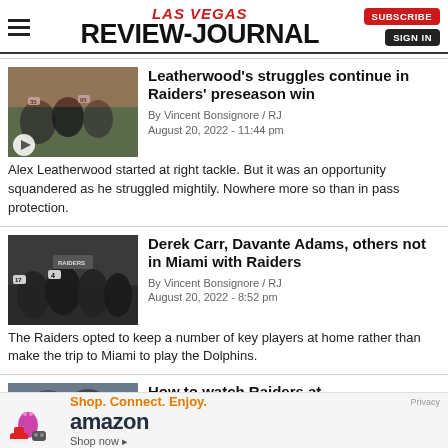LAS VEGAS REVIEW-JOURNAL
[Figure (photo): Football players on field, Raiders preseason game]
Leatherwood's struggles continue in Raiders' preseason win
By Vincent Bonsignore / RJ
August 20, 2022 - 11:44 pm
Alex Leatherwood started at right tackle. But it was an opportunity squandered as he struggled mightily. Nowhere more so than in pass protection.
[Figure (photo): Raiders players huddle, Derek Carr #4 visible]
Derek Carr, Davante Adams, others not in Miami with Raiders
By Vincent Bonsignore / RJ
August 20, 2022 - 8:52 pm
The Raiders opted to keep a number of key players at home rather than make the trip to Miami to play the Dolphins.
[Figure (photo): Partial article image - How to watch Raiders at...]
How to watch Raiders at
[Figure (infographic): Amazon advertisement: Shop. Connect. Enjoy. amazon. Shop now. Privacy.]